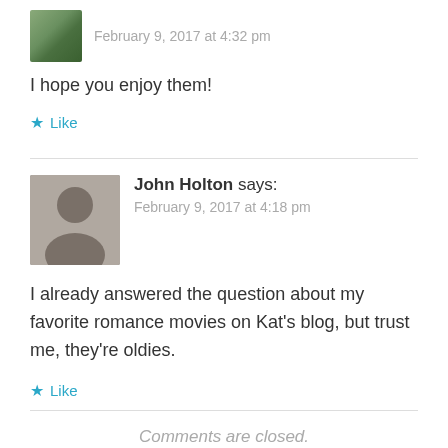February 9, 2017 at 4:32 pm
I hope you enjoy them!
Like
John Holton says: February 9, 2017 at 4:18 pm
I already answered the question about my favorite romance movies on Kat's blog, but trust me, they're oldies.
Like
Comments are closed.